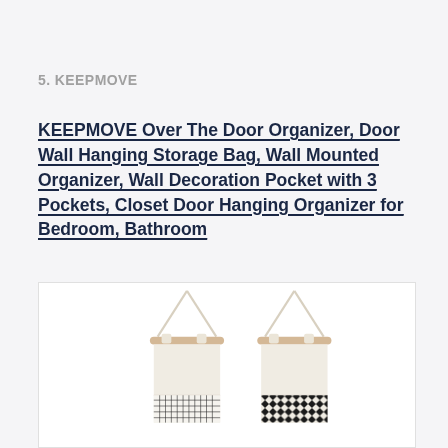5. KEEPMOVE
KEEPMOVE Over The Door Organizer, Door Wall Hanging Storage Bag, Wall Mounted Organizer, Wall Decoration Pocket with 3 Pockets, Closet Door Hanging Organizer for Bedroom, Bathroom
[Figure (photo): Two wall hanging organizers with wooden dowel rods and white rope hangers. Left organizer has a plain cream/natural fabric with a black grid-pattern pocket at the bottom. Right organizer has a cream fabric with a black and white geometric/diamond pattern pocket at the bottom.]